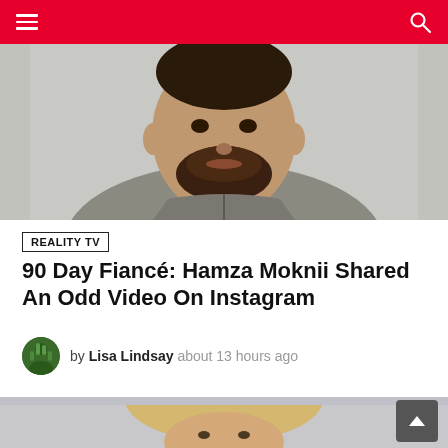Navigation bar with hamburger menu and search icon
[Figure (photo): Close-up photo of a man with a beard wearing a grey zip-up hoodie sweatshirt, seated against a white wall]
REALITY TV
90 Day Fiancé: Hamza Moknii Shared An Odd Video On Instagram
by Lisa Lindsay   about 13 hours ago
[Figure (photo): Partial photo of a young blonde woman with hair pulled back, looking forward against a grey background]